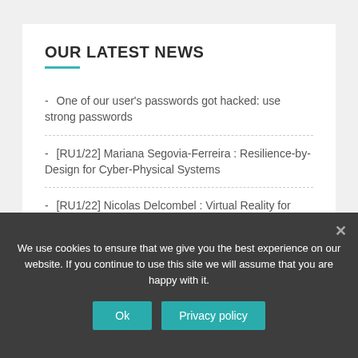OUR LATEST NEWS
- One of our user's passwords got hacked: use strong passwords
- [RU1/22] Mariana Segovia-Ferreira : Resilience-by-Design for Cyber-Physical Systems
- [RU1/22] Nicolas Delcombel : Virtual Reality for Cybersecurity
- [RU1/22] Zeinab Rahal : digital twins for cybersecurity
We use cookies to ensure that we give you the best experience on our website. If you continue to use this site we will assume that you are happy with it.